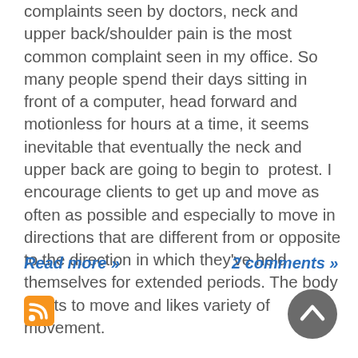complaints seen by doctors, neck and upper back/shoulder pain is the most common complaint seen in my office. So many people spend their days sitting in front of a computer, head forward and motionless for hours at a time, it seems inevitable that eventually the neck and upper back are going to begin to protest. I encourage clients to get up and move as often as possible and especially to move in directions that are different from or opposite to the direction in which they've held themselves for extended periods. The body wants to move and likes variety of movement.
Read more »
2 comments »
[Figure (other): RSS feed icon — orange rounded square with white RSS signal symbol]
[Figure (other): Scroll-to-top button — dark grey circle with white upward chevron arrow]